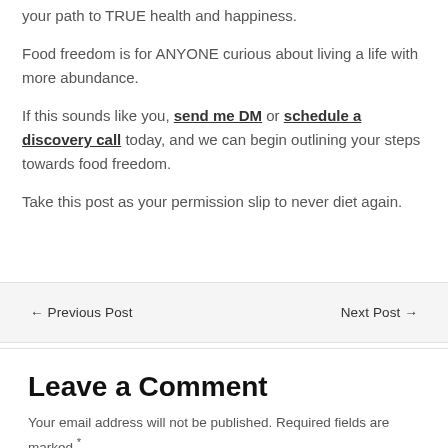your path to TRUE health and happiness.
Food freedom is for ANYONE curious about living a life with more abundance.
If this sounds like you, send me DM or schedule a discovery call today, and we can begin outlining your steps towards food freedom.
Take this post as your permission slip to never diet again.
← Previous Post
Next Post →
Leave a Comment
Your email address will not be published. Required fields are marked *